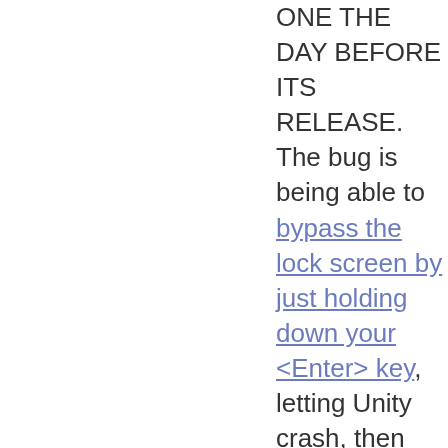ONE THE DAY BEFORE ITS RELEASE. The bug is being able to bypass the lock screen by just holding down your <Enter> key, letting Unity crash, then restarting without locking the desktop. That's a pretty big bug. What's interesting about this bug though, isn't the bug itself, but a bigger problem withing the Ubuntu and Canonical development teams. That is, that the release date is more important than the quality of the release.